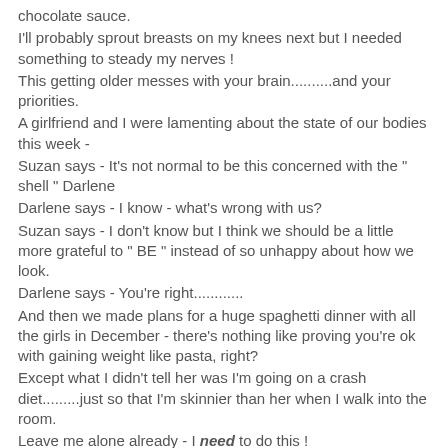chocolate sauce.
I'll probably sprout breasts on my knees next but I needed something to steady my nerves !
This getting older messes with your brain..........and your priorities.
A girlfriend and I were lamenting about the state of our bodies this week -
Suzan says - It's not normal to be this concerned with the " shell " Darlene
Darlene says - I know - what's wrong with us?
Suzan says - I don't know but I think we should be a little more grateful to " BE " instead of so unhappy about how we look.
Darlene says - You're right............
And then we made plans for a huge spaghetti dinner with all the girls in December - there's nothing like proving you're ok with gaining weight like pasta, right?
Except what I didn't tell her was I'm going on a crash diet.........just so that I'm skinnier than her when I walk into the room.
Leave me alone already - I need to do this !